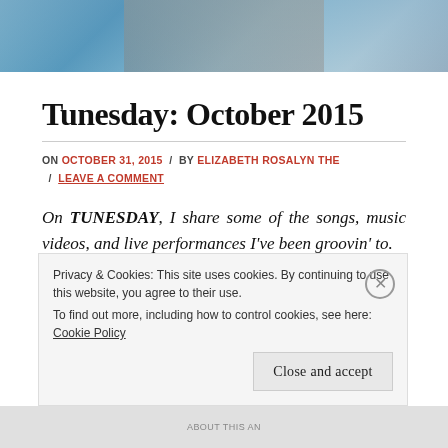[Figure (photo): Banner image at top of blog page showing figures in artistic/illustrative style with blue tones]
Tunesday: October 2015
ON OCTOBER 31, 2015 / BY ELIZABETH ROSALYN THE / LEAVE A COMMENT
On TUNESDAY, I share some of the songs, music videos, and live performances I've been groovin' to.
Privacy & Cookies: This site uses cookies. By continuing to use this website, you agree to their use. To find out more, including how to control cookies, see here: Cookie Policy
Close and accept